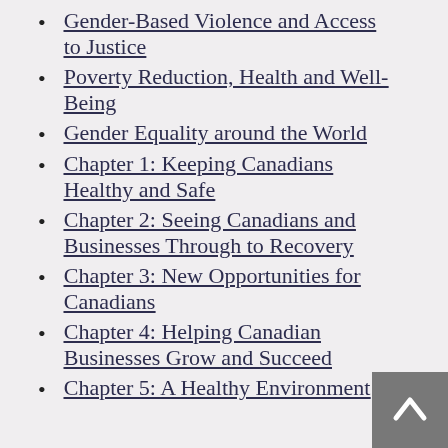Gender-Based Violence and Access to Justice
Poverty Reduction, Health and Well-Being
Gender Equality around the World
Chapter 1: Keeping Canadians Healthy and Safe
Chapter 2: Seeing Canadians and Businesses Through to Recovery
Chapter 3: New Opportunities for Canadians
Chapter 4: Helping Canadian Businesses Grow and Succeed
Chapter 5: A Healthy Environment